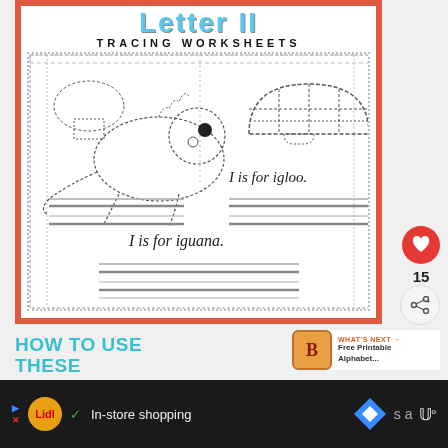[Figure (illustration): Letter I tracing worksheet preview showing 'TRACING WORKSHEETS' title in blue, with dotted border containing dashed-line drawings of an iguana and igloo. Text reads 'I is for igloo.' and 'I is for iguana.' with tracing lines below. Red border around worksheet.]
15
WHAT'S NEXT → Free Printable Alphabet...
HOW TO USE THESE WORKSHEETS
In-store shopping